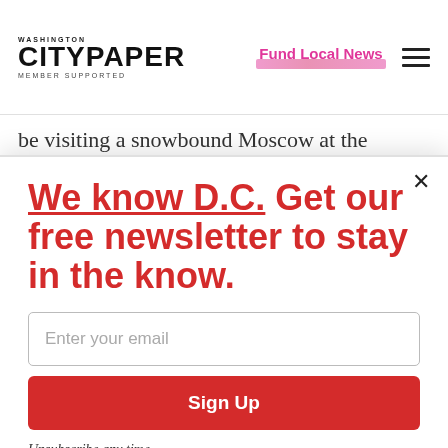WASHINGTON CITYPAPER MEMBER SUPPORTED | Fund Local News
be visiting a snowbound Moscow at the
We know D.C. Get our free newsletter to stay in the know.
Enter your email
Sign Up
Unsubscribe any time.